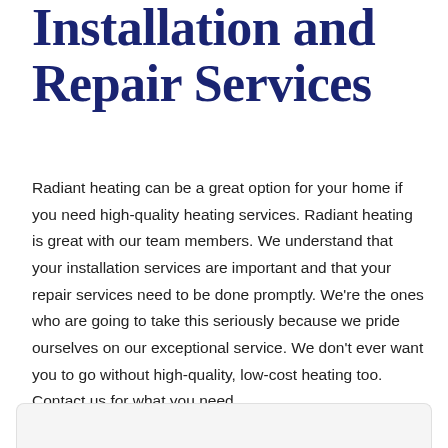Installation and Repair Services
Radiant heating can be a great option for your home if you need high-quality heating services. Radiant heating is great with our team members. We understand that your installation services are important and that your repair services need to be done promptly. We're the ones who are going to take this seriously because we pride ourselves on our exceptional service. We don't ever want you to go without high-quality, low-cost heating too. Contact us for what you need.